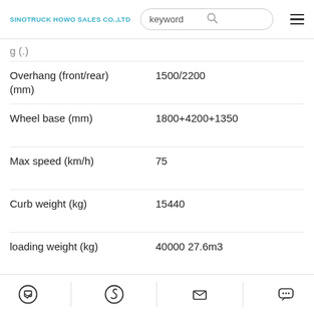SINOTRUCK HOWO SALES CO.,LTD
| Specification | Value |
| --- | --- |
| Overhang (front/rear) (mm) | 1500/2200 |
| Wheel base (mm) | 1800+4200+1350 |
| Max speed (km/h) | 75 |
| Curb weight (kg) | 15440 |
| loading weight (kg) | 40000 27.6m3 |
| Fuel tanker capacity (L) | 300L or 600L |
| Fuel consumption (L/km) | 20-40 L/100 km |
|  | Single plate dry clutch |
WhatsApp | Skype | Email | Chat